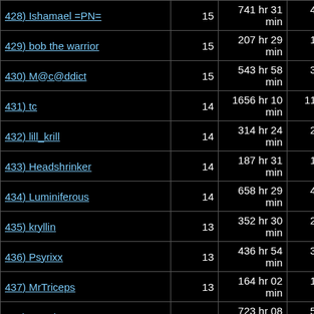| Name | Count | Total Time | Avg Time |
| --- | --- | --- | --- |
| 428) Ishamael =PN= | 15 | 741 hr 31 min | 49 hr 26 min 06.8 sec |
| 429) bob the warrior | 15 | 207 hr 29 min | 13 hr 49 min 56.7 sec |
| 430) M@c@ddict | 15 | 543 hr 58 min | 36 hr 15 min 55.5 sec |
| 431) tc | 14 | 1656 hr 10 min | 118 hr 17 min 55.3 sec |
| 432) lill_krill | 14 | 314 hr 24 min | 22 hr 27 min 28.5 sec |
| 433) Headshrinker | 14 | 187 hr 31 min | 13 hr 23 min 42.5 sec |
| 434) Luminiferous | 14 | 658 hr 29 min | 47 hr 02 min 07.9 sec |
| 435) kryllin | 13 | 352 hr 30 min | 27 hr 06 min 57.9 sec |
| 436) Psyrixx | 13 | 436 hr 54 min | 33 hr 36 min 27.9 sec |
| 437) MrTriceps | 13 | 164 hr 02 min | 12 hr 37 min 09.0 sec |
| 438) Neg'd | 13 | 723 hr 08 min | 55 hr 37 min 36.3 sec |